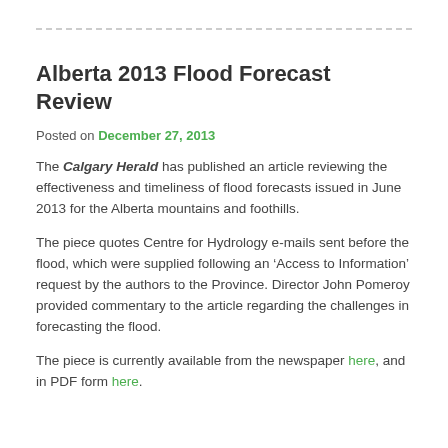Alberta 2013 Flood Forecast Review
Posted on December 27, 2013
The Calgary Herald has published an article reviewing the effectiveness and timeliness of flood forecasts issued in June 2013 for the Alberta mountains and foothills.
The piece quotes Centre for Hydrology e-mails sent before the flood, which were supplied following an ‘Access to Information’ request by the authors to the Province. Director John Pomeroy provided commentary to the article regarding the challenges in forecasting the flood.
The piece is currently available from the newspaper here, and in PDF form here.